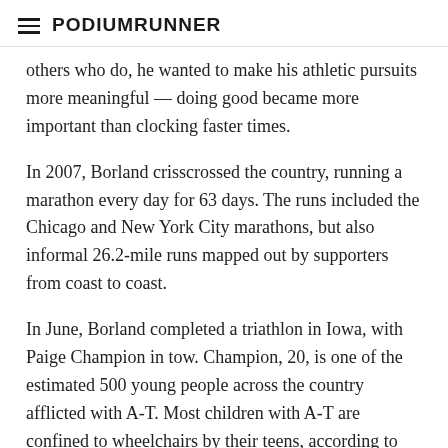PodiumRunner
others who do, he wanted to make his athletic pursuits more meaningful — doing good became more important than clocking faster times.
In 2007, Borland crisscrossed the country, running a marathon every day for 63 days. The runs included the Chicago and New York City marathons, but also informal 26.2-mile runs mapped out by supporters from coast to coast.
In June, Borland completed a triathlon in Iowa, with Paige Champion in tow. Champion, 20, is one of the estimated 500 young people across the country afflicted with A-T. Most children with A-T are confined to wheelchairs by their teens, according to information provided by the A-T Children's Project (www.atcp.org), a nonprofit that seeks a cure for the orphan disease. Children with A-T often suffer from a